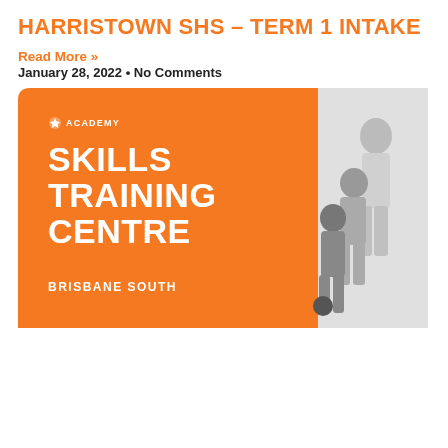HARRISTOWN SHS – TERM 1 INTAKE
Read More »
January 28, 2022 • No Comments
[Figure (illustration): Orange promotional card for 'Academy Skills Training Centre Brisbane South' with soccer players in black and white on the right side]